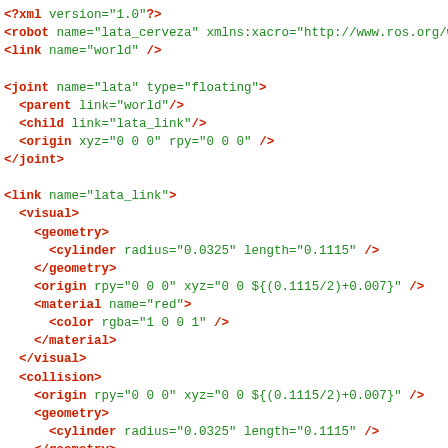<?xml version="1.0"?>
<robot name="lata_cerveza" xmlns:xacro="http://www.ros.org/wiki/xacro">
<link name="world" />

<joint name="lata" type="floating">
  <parent link="world"/>
  <child link="lata_link"/>
  <origin xyz="0 0 0" rpy="0 0 0" />
</joint>

<link name="lata_link">
  <visual>
    <geometry>
      <cylinder radius="0.0325" length="0.1115" />
    </geometry>
    <origin rpy="0 0 0" xyz="0 0 ${(0.1115/2)+0.007}" />
    <material name="red">
      <color rgba="1 0 0 1" />
    </material>
  </visual>
  <collision>
    <origin rpy="0 0 0" xyz="0 0 ${(0.1115/2)+0.007}" />
    <geometry>
      <cylinder radius="0.0325" length="0.1115" />
    </geometry>
  </collision>
  <inertial>
    <origin rpy="0 0 0" xyz="0 0 ${(0.1115/2)+0.007}" />
    <mass value="0.01" />
      <inertia ixx="0.001" ixy="0.0" ixz="0.0" iyy="0.001" iyz="0.0" i
  </inertial>
</link>

<joint name="lata_top" type="fixed">
  <parent link="lata_link"/>
  <child link="lata_top_link"/>